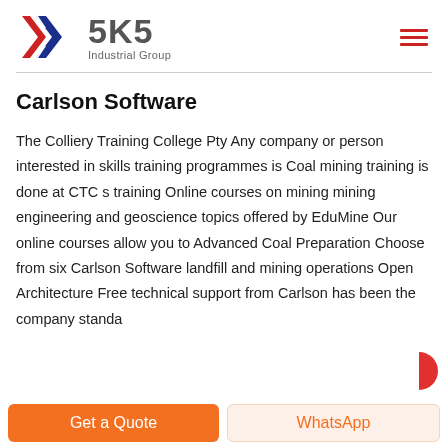[Figure (logo): SKS Industrial Group logo with stylized K in red and blue, text '5K5' in grey and 'Industrial Group' subtitle]
Carlson Software
The Colliery Training College Pty Any company or person interested in skills training programmes is Coal mining training is done at CTC s training Online courses on mining mining engineering and geoscience topics offered by EduMine Our online courses allow you to Advanced Coal Preparation Choose from six Carlson Software landfill and mining operations Open Architecture Free technical support from Carlson has been the company standard